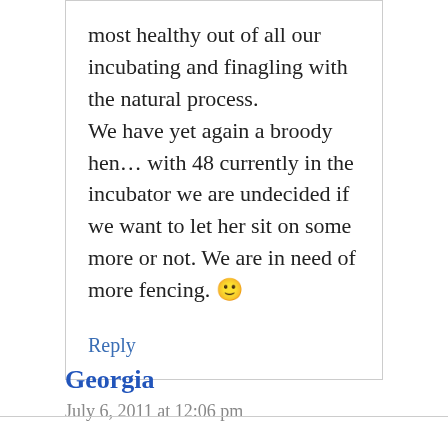most healthy out of all our incubating and finagling with the natural process.
We have yet again a broody hen… with 48 currently in the incubator we are undecided if we want to let her sit on some more or not. We are in need of more fencing. 🙂
Reply
Georgia
July 6, 2011 at 12:06 pm